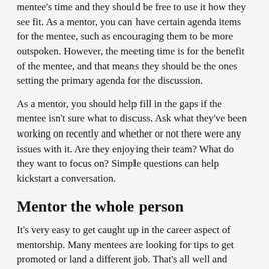mentee's time and they should be free to use it how they see fit. As a mentor, you can have certain agenda items for the mentee, such as encouraging them to be more outspoken. However, the meeting time is for the benefit of the mentee, and that means they should be the ones setting the primary agenda for the discussion.
As a mentor, you should help fill in the gaps if the mentee isn't sure what to discuss. Ask what they've been working on recently and whether or not there were any issues with it. Are they enjoying their team? What do they want to focus on? Simple questions can help kickstart a conversation.
Mentor the whole person
It's very easy to get caught up in the career aspect of mentorship. Many mentees are looking for tips to get promoted or land a different job. That's all well and good, and honestly, is the easiest part of mentoring. In any company there's usually a prescription for getting promoted, and to the extent you can articulate that in a useful way, you are being a good mentor. But there's more to a person than career aspirations.